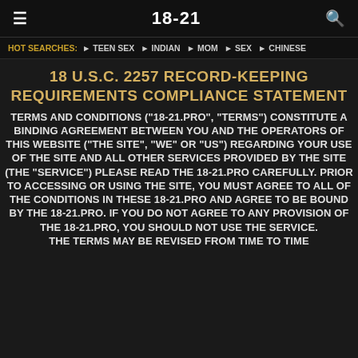18-21
HOT SEARCHES: ▶ TEEN SEX ▶ INDIAN ▶ MOM ▶ SEX ▶ CHINESE
18 U.S.C. 2257 RECORD-KEEPING REQUIREMENTS COMPLIANCE STATEMENT
TERMS AND CONDITIONS ("18-21.PRO", "TERMS") CONSTITUTE A BINDING AGREEMENT BETWEEN YOU AND THE OPERATORS OF THIS WEBSITE ("THE SITE", "WE" OR "US") REGARDING YOUR USE OF THE SITE AND ALL OTHER SERVICES PROVIDED BY THE SITE (THE "SERVICE") PLEASE READ THE 18-21.PRO CAREFULLY. PRIOR TO ACCESSING OR USING THE SITE, YOU MUST AGREE TO ALL OF THE CONDITIONS IN THESE 18-21.PRO AND AGREE TO BE BOUND BY THE 18-21.PRO. IF YOU DO NOT AGREE TO ANY PROVISION OF THE 18-21.PRO, YOU SHOULD NOT USE THE SERVICE. THE TERMS MAY BE REVISED FROM TIME TO TIME